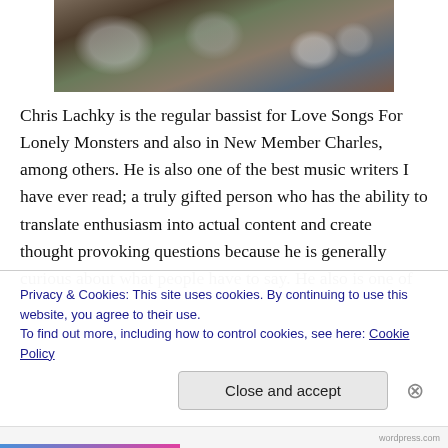[Figure (photo): Photo of a crowd at an outdoor music event, viewed from behind, with people raising hands and a stage visible in the background under bright daylight.]
Chris Lachky is the regular bassist for Love Songs For Lonely Monsters and also in New Member Charles, among others. He is also one of the best music writers I have ever read; a truly gifted person who has the ability to translate enthusiasm into actual content and create thought provoking questions because he is generally curious about what people have to say. He also is one of the nicest people I have ever met. We look...
Privacy & Cookies: This site uses cookies. By continuing to use this website, you agree to their use.
To find out more, including how to control cookies, see here: Cookie Policy
Close and accept